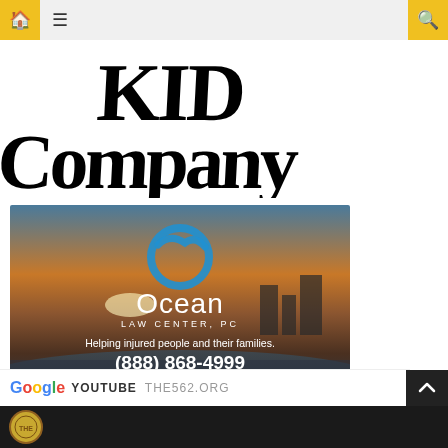[Figure (screenshot): Navigation bar with home icon, hamburger menu, and search icon on yellow/grey background]
[Figure (logo): KID COMPANY logo in large bold serif font, black text on white background]
[Figure (photo): Ocean Law Center PC advertisement. Beach sunset background with blue wave circular logo, white text reading: Ocean LAW CENTER, PC. Helping injured people and their families. (888) 868-4999]
YOUTUBE  THE562.ORG
[Figure (photo): Bottom strip showing partial circular gold logo on dark background]